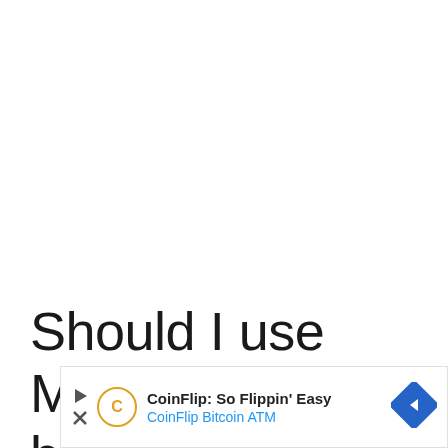Should I use Marula oil before or after
[Figure (other): CoinFlip Bitcoin ATM advertisement banner with play icon, CoinFlip logo circle with 'C', text 'CoinFlip: So Flippin' Easy' and 'CoinFlip Bitcoin ATM' in blue, and a blue diamond-shaped arrow icon on the right.]